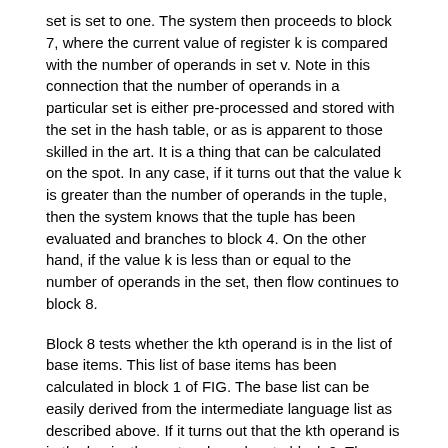set is set to one. The system then proceeds to block 7, where the current value of register k is compared with the number of operands in set v. Note in this connection that the number of operands in a particular set is either pre-processed and stored with the set in the hash table, or as is apparent to those skilled in the art. It is a thing that can be calculated on the spot. In any case, if it turns out that the value k is greater than the number of operands in the tuple, then the system knows that the tuple has been evaluated and branches to block 4. On the other hand, if the value k is less than or equal to the number of operands in the set, then flow continues to block 8.
Block 8 tests whether the kth operand is in the list of base items. This list of base items has been calculated in block 1 of FIG. The base list can be easily derived from the intermediate language list as described above. If it turns out that the kth operand is in the basis, the system branches to block 9. There, a particular symbol register r is added to the kill set of the kth operand. On the other hand, if the operand is not found in the base, the system proceeds to block 10, where the list of kill sets is examined, and for each one containing the kth operand,